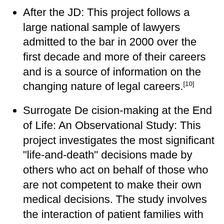After the JD: This project follows a large national sample of lawyers admitted to the bar in 2000 over the first decade and more of their careers and is a source of information on the changing nature of legal careers.[10]
Surrogate De cision-making at the End of Life: An Observational Study: This project investigates the most significant "life-and-death" decisions made by others who act on behalf of those who are not competent to make their own medical decisions. The study involves the interaction of patient families with health care providers, day after day, in two demographically diverse intensive care units in a large urban teaching hospital. Systematic data has been gathered on patient medical histories, the medical issues and decisions they face, and the interventions made on their behalf. Data on more than one thousand encounters and family meetings between almost 300 health care providers and